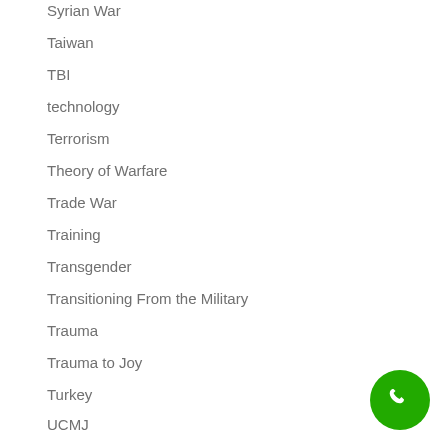Syrian War
Taiwan
TBI
technology
Terrorism
Theory of Warfare
Trade War
Training
Transgender
Transitioning From the Military
Trauma
Trauma to Joy
Turkey
UCMJ
UFO